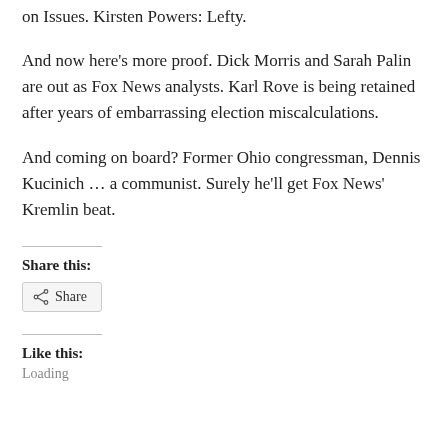on Issues. Kirsten Powers: Lefty.
And now here’s more proof. Dick Morris and Sarah Palin are out as Fox News analysts. Karl Rove is being retained after years of embarrassing election miscalculations.
And coming on board? Former Ohio congressman, Dennis Kucinich … a communist. Surely he’ll get Fox News’ Kremlin beat.
Share this:
Share
Like this:
Loading